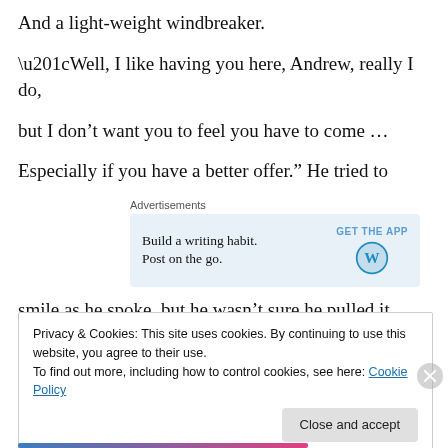And a light-weight windbreaker.
“Well, I like having you here, Andrew, really I do,
but I don’t want you to feel you have to come …
Especially if you have a better offer.” He tried to
[Figure (other): WordPress advertisement banner: 'Build a writing habit. Post on the go.' with GET THE APP button and WordPress logo]
smile as he spoke, but he wasn’t sure he pulled it
Privacy & Cookies: This site uses cookies. By continuing to use this website, you agree to their use. To find out more, including how to control cookies, see here: Cookie Policy